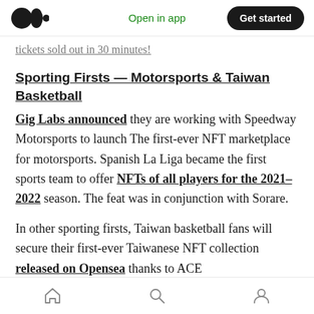Medium app header — Open in app | Get started
...tickets sold out in 30 minutes! (truncated link)
Sporting Firsts — Motorsports & Taiwan Basketball
Gig Labs announced they are working with Speedway Motorsports to launch The first-ever NFT marketplace for motorsports. Spanish La Liga became the first sports team to offer NFTs of all players for the 2021–2022 season. The feat was in conjunction with Sorare.
In other sporting firsts, Taiwan basketball fans will secure their first-ever Taiwanese NFT collection released on Opensea thanks to ACE
Bottom navigation bar: Home, Search, Profile